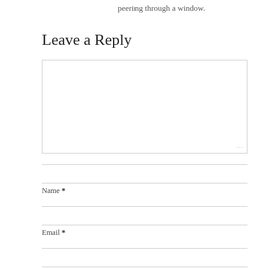peering through a window.
Leave a Reply
[Comment textarea field]
[Name input field]
Name *
[Email input field]
Email *
[Website input field]
Website